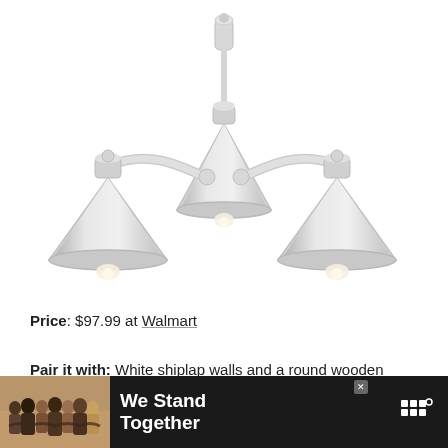[Figure (photo): Three-light polished nickel vanity bar light fixture with cone-shaped metal shades, industrial style, shown on white background]
Price: $97.99 at Walmart
Pair it with: White shiplap walls and a round wooden mirror for a modern coastal vibe.
[Figure (other): Advertisement banner: dark background with group photo of people, text 'We Stand Together', and logo]